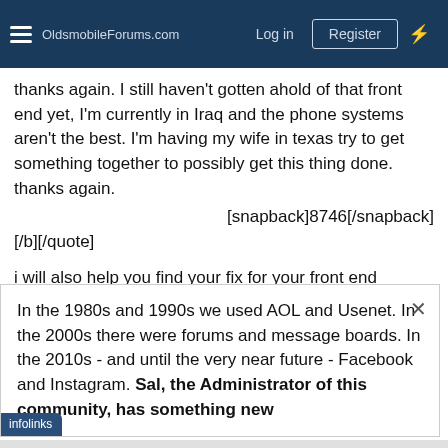OldsmobileForums.com — Log in | Register
thanks again. I still haven't gotten ahold of that front end yet, I'm currently in Iraq and the phone systems aren't the best. I'm having my wife in texas try to get something together to possibly get this thing done. thanks again.
[snapback]8746[/snapback]
[/b][/quote]
i will also help you find your fix for your front end problem, the
In the 1980s and 1990s we used AOL and Usenet. In the 2000s there were forums and message boards. In the 2010s - and until the very near future - Facebook and Instagram. Sal, the Administrator of this community, has something new
[Figure (screenshot): Frontgate SALES advertisement banner: furniture/outdoor image, 'Frontgate SALES up to 50% off frontgate.com', blue circular CTA arrow button]